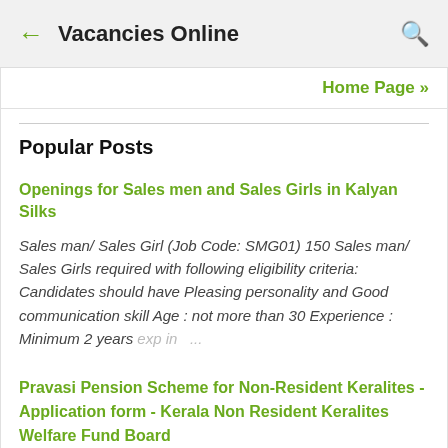← Vacancies Online 🔍
Home Page »
Popular Posts
Openings for Sales men and Sales Girls in Kalyan Silks
Sales man/ Sales Girl (Job Code: SMG01) 150 Sales man/ Sales Girls required with following eligibility criteria: Candidates should have Pleasing personality and Good communication skill Age : not more than 30 Experience : Minimum 2 years exp in ...
Pravasi Pension Scheme for Non-Resident Keralites - Application form - Kerala Non Resident Keralites Welfare Fund Board